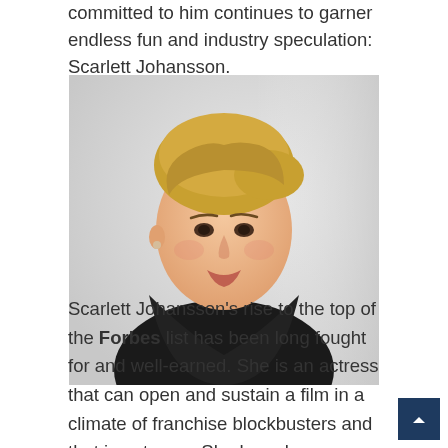committed to him continues to garner endless fun and industry speculation: Scarlett Johansson.
[Figure (photo): Portrait photo of Scarlett Johansson with short blonde updo hair, wearing a dark blazer, against a white background]
Scarlett Johansson's rise to the top of the Forbes list has been long fought for and well-earned. She is an actress that can open and sustain a film in a climate of franchise blockbusters and that is not easy. She has also diversified her resume by taking smaller independent films as well as voice over roles in films